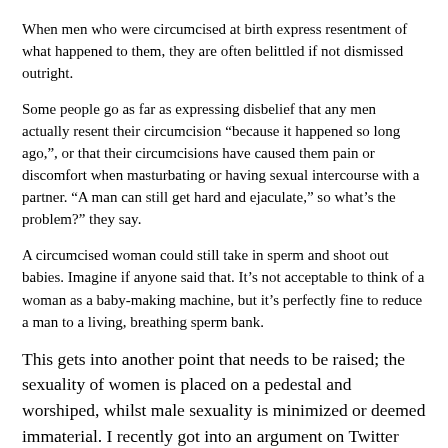When men who were circumcised at birth express resentment of what happened to them, they are often belittled if not dismissed outright.
Some people go as far as expressing disbelief that any men actually resent their circumcision “because it happened so long ago,”, or that their circumcisions have caused them pain or discomfort when masturbating or having sexual intercourse with a partner. “A man can still get hard and ejaculate,” so what’s the problem?” they say.
A circumcised woman could still take in sperm and shoot out babies. Imagine if anyone said that. It’s not acceptable to think of a woman as a baby-making machine, but it’s perfectly fine to reduce a man to a living, breathing sperm bank.
This gets into another point that needs to be raised; the sexuality of women is placed on a pedestal and worshiped, whilst male sexuality is minimized or deemed immaterial. I recently got into an argument on Twitter with a woman who made a comment along the lines of "Why is male sexuality important? When a man and a woman have sex, what matters is that the woman is satisfied. Why does everything have to center around men?" Is it not immediately obvious that if men had the full equipment they were born with, they might know how to use it to please women better? No one